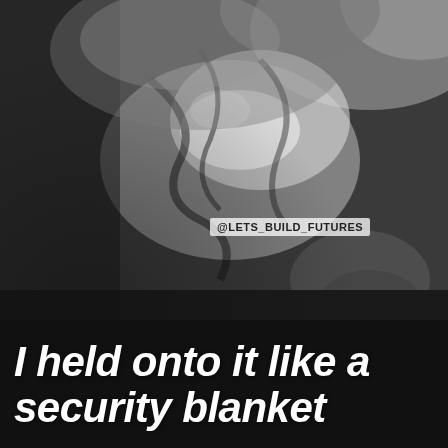[Figure (photo): Black and white overhead photo of a person lying in bed, clutching rumpled sheets and blankets tightly]
@LETS_BUILD_FUTURES
I held onto it like a security blanket